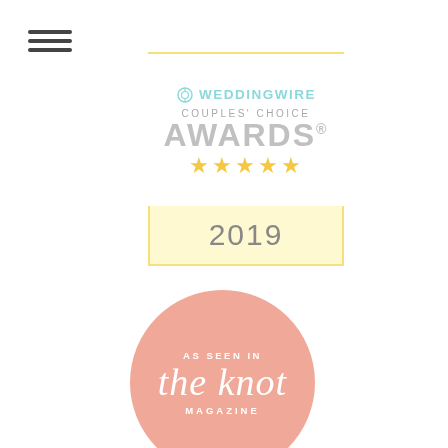[Figure (logo): Hamburger menu icon — three horizontal dark lines]
[Figure (logo): WeddingWire Couples' Choice Awards 2019 badge with five gold stars and yellow border]
[Figure (logo): The Knot Magazine 'As Seen In' circular badge in pink/salmon color]